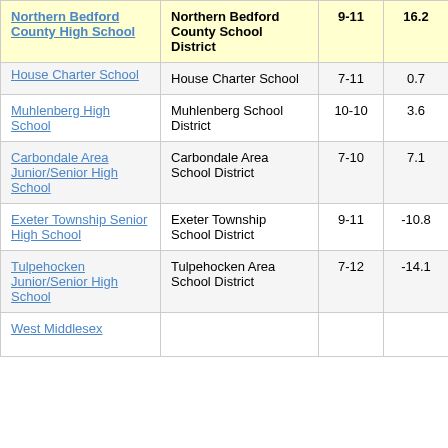| School | District | Grades | Value |  |
| --- | --- | --- | --- | --- |
| Northern Bedford County High School | Northern Bedford County School District | 9-11 | 16.2 | 3 |
| House Charter School | House Charter School | 7-11 | 0.7 |  |
| Muhlenberg High School | Muhlenberg School District | 10-10 | 3.6 |  |
| Carbondale Area Junior/Senior High School | Carbondale Area School District | 7-10 | 7.1 |  |
| Exeter Township Senior High School | Exeter Township School District | 9-11 | -10.8 |  |
| Tulpehocken Junior/Senior High School | Tulpehocken Area School District | 7-12 | -14.1 |  |
| West Middlesex |  |  |  |  |